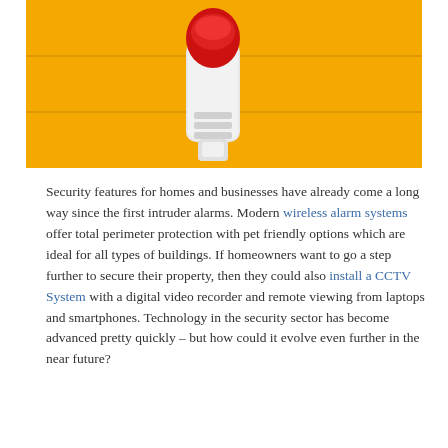[Figure (photo): A white intruder alarm siren with a red flashing light mounted on a bright yellow wall with horizontal panel lines.]
Security features for homes and businesses have already come a long way since the first intruder alarms. Modern wireless alarm systems offer total perimeter protection with pet friendly options which are ideal for all types of buildings. If homeowners want to go a step further to secure their property, then they could also install a CCTV System with a digital video recorder and remote viewing from laptops and smartphones. Technology in the security sector has become advanced pretty quickly – but how could it evolve even further in the near future?